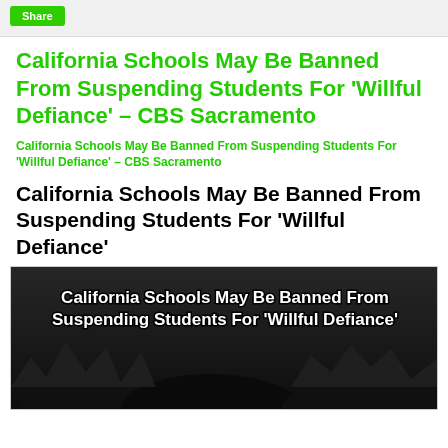Share
California Schools May Be Banned From Suspending Students For 'Willful Defiance' – CBS Sacramento
California Schools May Be Banned From Suspending Students For 'Willful Defiance' – CBS Sacramento
California Schools May Be Banned From Suspending Students For 'Willful Defiance'
[Figure (photo): Dark background image with white bold text overlay reading: California Schools May Be Banned From Suspending Students For 'Willful Defiance'. Dark silhouette figures visible at the bottom.]